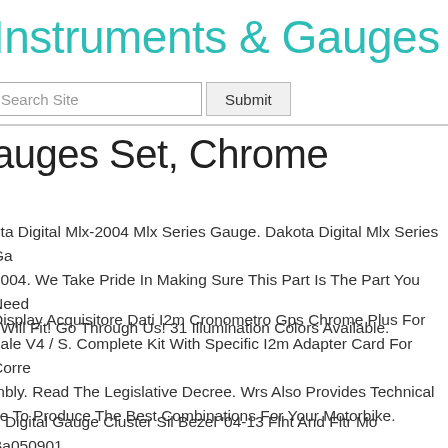Instruments & Gauges
Search Site   Submit
auges Set, Chrome
ota Digital Mlx-2004 Mlx Series Gauge. Dakota Digital Mlx Series Ga 2004. We Take Pride In Making Sure This Part Is The Part You Need Will Fit! Go Through Us! 31 Illumination Colors Available.
Display Acquisitore Dati I2m Cronometro Gps Chrome Plus For gale V4 / S. Complete Kit With Specific I2m Adapter Card For Corre mbly. Read The Legislative Decree. Wrs Also Provides Technical ce To Produce The Best Combinations For Your Motorbike.
o Digital Gauge Cluster Sil Bezel '04-13 Flht And Fltr Mo Ba050901. cal Gauge Cluster Sil Bezel '04-13 Flht And Fltr Mo. Available With S